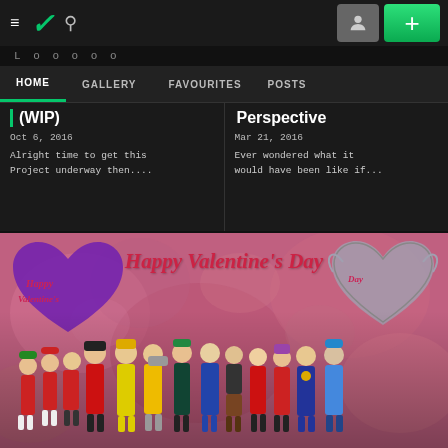DeviantArt navigation bar with hamburger menu, DA logo, search icon, user avatar button, and add (+) button
L o o o o o
HOME  GALLERY  FAVOURITES  POSTS
(WIP)
Oct 6, 2016
Alright time to get this Project underway then....
Perspective
Mar 21, 2016
Ever wondered what it would have been like if...
[Figure (illustration): Happy Valentine's Day artwork featuring anime-style characters grouped together in front of a pink roses background with purple and grey heart decorations. The text 'Happy Valentine's Day' is written in red cursive lettering across the top.]